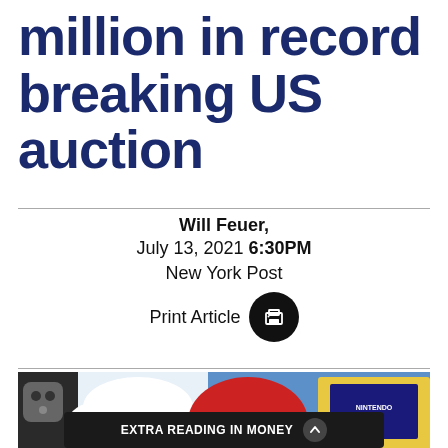million in record breaking US auction
Will Feuer, July 13, 2021 6:30PM New York Post
Print Article
[Figure (photo): Photo of Nintendo 64 video game cartridges in protective cases displayed in a row]
EXTRA READING IN MONEY